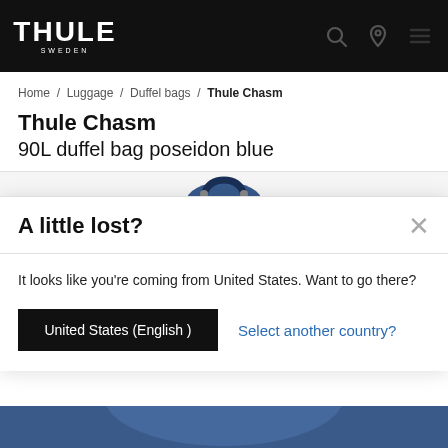[Figure (logo): Thule Sweden logo in white on black background]
Home / Luggage / Duffel bags / Thule Chasm
Thule Chasm
90L duffel bag poseidon blue
[Figure (photo): Partial image of Thule Chasm duffel bag in poseidon blue color]
A little lost?
It looks like you're coming from United States. Want to go there?
United States (English )
Select another country?
[Figure (photo): Bottom stripe showing part of the blue duffel bag]